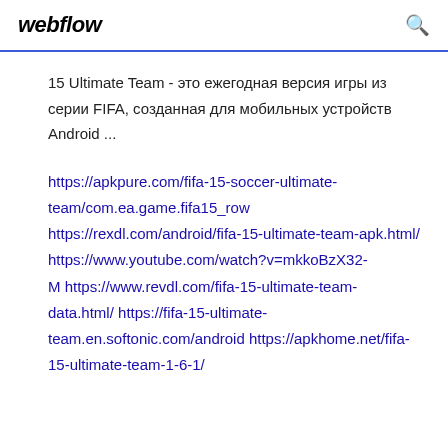webflow
15 Ultimate Team - это ежегодная версия игры из серии FIFA, созданная для мобильных устройств Android ...
https://apkpure.com/fifa-15-soccer-ultimate-team/com.ea.game.fifa15_row https://rexdl.com/android/fifa-15-ultimate-team-apk.html/ https://www.youtube.com/watch?v=mkkoBzX32-M https://www.revdl.com/fifa-15-ultimate-team-data.html/ https://fifa-15-ultimate-team.en.softonic.com/android https://apkhome.net/fifa-15-ultimate-team-1-6-1/